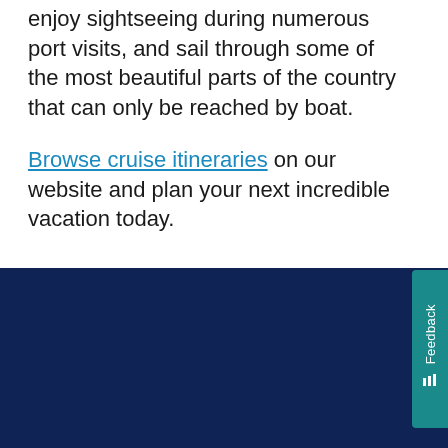enjoy sightseeing during numerous port visits, and sail through some of the most beautiful parts of the country that can only be reached by boat.
Browse cruise itineraries on our website and plan your next incredible vacation today.
Cookies are used on this website. By continuing to browse the site, you agree to the use of cookies. Read More
OKAY